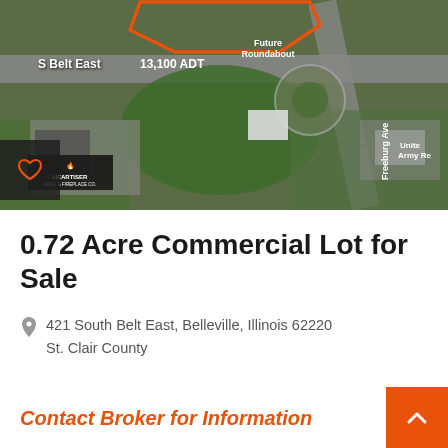[Figure (map): Aerial satellite map view of 421 South Belt East, Belleville, Illinois. Orange outlined polygon shows the commercial lot. Street labels show 'S Belt East', '13,100 ADT', 'Future Roundabout', 'Freeburg Ave'. A building with 'Heartiser' logo visible in lower left quadrant. United Army Reserve building label in upper right.]
0.72 Acre Commercial Lot for Sale
421 South Belt East, Belleville, Illinois 62220
St. Clair County
Contact Broker for Information
VIEW FULL LISTING